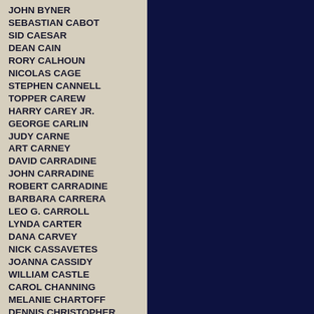JOHN BYNER
SEBASTIAN CABOT
SID CAESAR
DEAN CAIN
RORY CALHOUN
NICOLAS CAGE
STEPHEN CANNELL
TOPPER CAREW
HARRY CAREY JR.
GEORGE CARLIN
JUDY CARNE
ART CARNEY
DAVID CARRADINE
JOHN CARRADINE
ROBERT CARRADINE
BARBARA CARRERA
LEO G. CARROLL
LYNDA CARTER
DANA CARVEY
NICK CASSAVETES
JOANNA CASSIDY
WILLIAM CASTLE
CAROL CHANNING
MELANIE CHARTOFF
DENNIS CHRISTOPHER